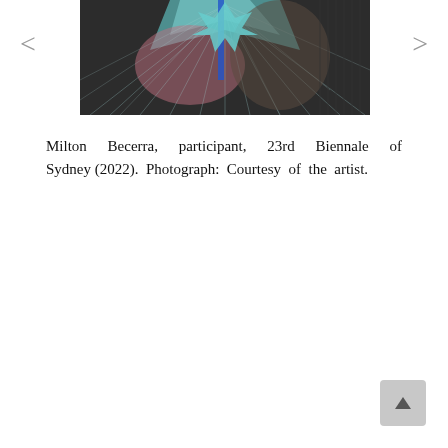[Figure (photo): A textile artwork featuring a face overlaid with colorful threads or net-like fabric in teal, pink, and blue tones, creating a layered, woven visual effect. Navigation arrows (< >) appear on either side of the image.]
Milton Becerra, participant, 23rd Biennale of Sydney (2022). Photograph: Courtesy of the artist.